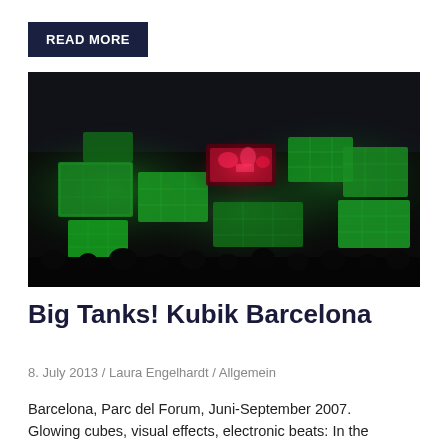READ MORE
[Figure (photo): Dark concert/event venue with large glowing green LED cubes arranged in a wall formation, with red/pink neon-like display in the center, silhouettes of audience in the foreground]
Big Tanks! Kubik Barcelona
8. July 2013 / Laura Engelhardt / Allgemein
Barcelona, Parc del Forum, Juni-September 2007. Glowing cubes, visual effects, electronic beats: In the Parc del Forum a temporary park of the...